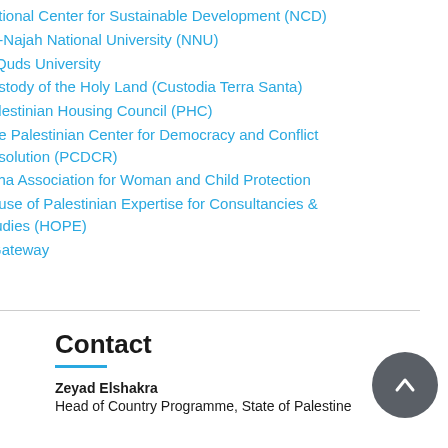ational Center for Sustainable Development (NCD)
n-Najah National University (NNU)
-Quds University
ustody of the Holy Land (Custodia Terra Santa)
alestinian Housing Council (PHC)
he Palestinian Center for Democracy and Conflict Resolution (PCDCR)
sha Association for Woman and Child Protection
ouse of Palestinian Expertise for Consultancies & tudies (HOPE)
Gateway
Contact
Zeyad Elshakra
Head of Country Programme, State of Palestine